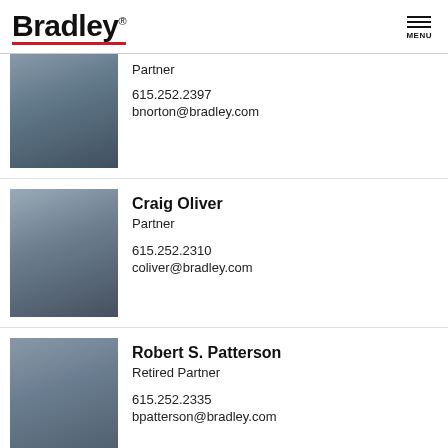[Figure (logo): Bradley law firm logo with red underline bar and registered trademark symbol]
[Figure (photo): Professional headshot of male partner in dark suit with red tie]
Partner
615.252.2397
bnorton@bradley.com
[Figure (photo): Professional headshot of Craig Oliver in dark suit with light tie]
Craig Oliver
Partner
615.252.2310
coliver@bradley.com
[Figure (photo): Professional headshot of Robert S. Patterson in dark suit with red tie, gray hair]
Robert S. Patterson
Retired Partner
615.252.2335
bpatterson@bradley.com